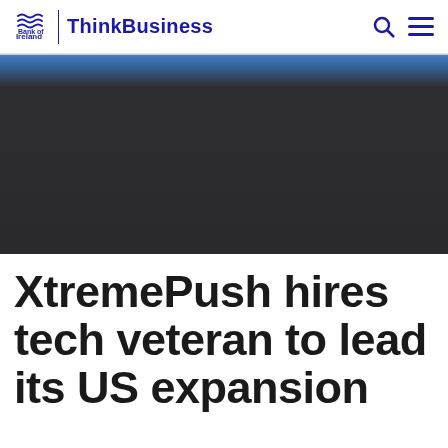Bank of Ireland | ThinkBusiness
[Figure (photo): Dark hero image with a thin blue strip at the top, mostly dark gray/black background suggesting an outdoor or sky scene]
XtremePush hires tech veteran to lead its US expansion